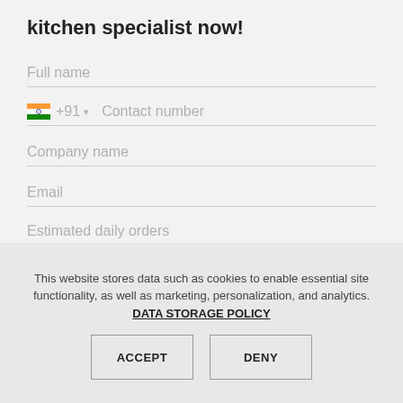kitchen specialist now!
Full name
+91 ▾  Contact number
Company name
Email
Estimated daily orders
This website stores data such as cookies to enable essential site functionality, as well as marketing, personalization, and analytics. DATA STORAGE POLICY
ACCEPT
DENY